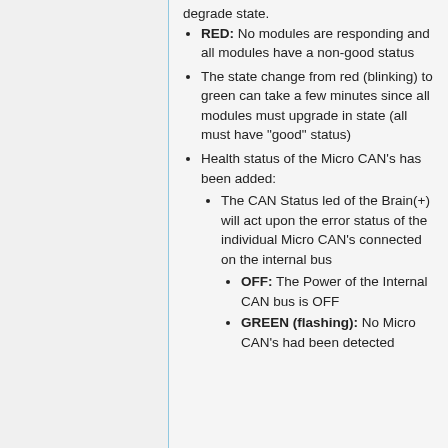degrade state.
RED: No modules are responding and all modules have a non-good status
The state change from red (blinking) to green can take a few minutes since all modules must upgrade in state (all must have "good" status)
Health status of the Micro CAN's has been added:
The CAN Status led of the Brain(+) will act upon the error status of the individual Micro CAN's connected on the internal bus
OFF: The Power of the Internal CAN bus is OFF
GREEN (flashing): No Micro CAN's had been detected